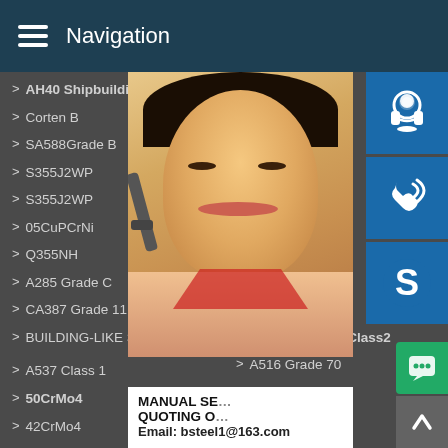Navigation
AH40 Shipbuilding Steel
Corten B
SA588Grade B
S355J2WP
S355J2WP
05CuPCrNi
Q355NH
A285 Grade C
CA387 Grade 11 Class2
BUILDING-LIKE SAND-MAKER
A537 Class 1
50CrMo4
42CrMo4
Corten
A588
S355J
S355J
09CuP
Q355
A204
A387
A387
A387 Grade 12 Class2
A516 Grade 70
P235GH
51CrV4
12Cr1MoV
[Figure (photo): Customer service representative woman smiling with headset, overlaid with blue icon buttons for customer service, phone call, and Skype, plus a contact notice with email bsteel1@163.com]